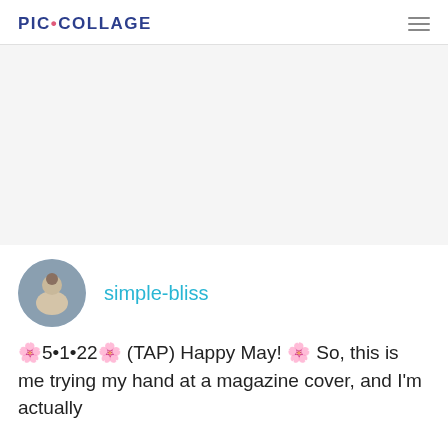PIC•COLLAGE
[Figure (photo): Large white/blank image area, content not visible]
[Figure (photo): Circular avatar photo of a person in a white dress seen from behind, outdoors with blurred background]
simple-bliss
🌸5•1•22🌸 (TAP) Happy May! 🌸 So, this is me trying my hand at a magazine cover, and I'm actually